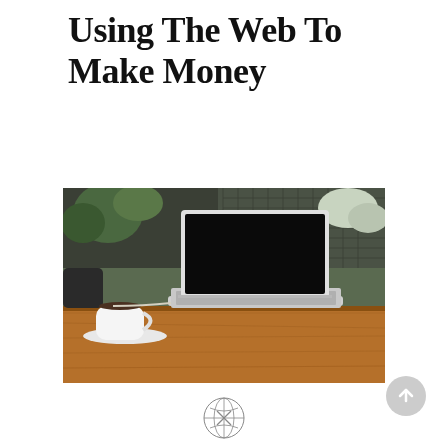Using The Web To Make Money
[Figure (photo): A laptop with a black screen open on a wooden table, with a white coffee cup and saucer to the left, and green plants/fence visible in the background. The scene suggests a cafe or outdoor workspace setting.]
[Figure (logo): Small circular logo or emblem at the bottom center of the page]
[Figure (other): Gray circular scroll-to-top button with an upward arrow, positioned at bottom right]